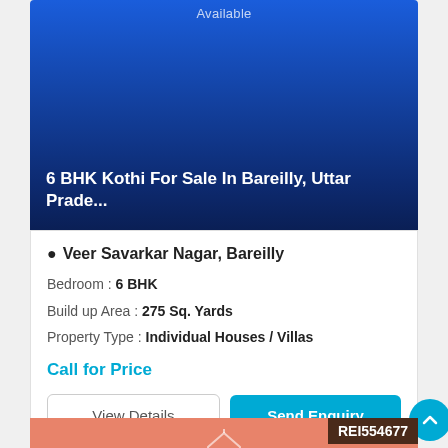[Figure (photo): Blue gradient property image area with 'Available' label and property title overlay]
6 BHK Kothi For Sale In Bareilly, Uttar Prade...
Veer Savarkar Nagar, Bareilly
Bedroom : 6 BHK
Build up Area : 275 Sq. Yards
Property Type : Individual Houses / Villas
Call for Price
[Figure (illustration): Salmon/coral colored card with house icon and 'No Property Images Available' text, REI554677 badge]